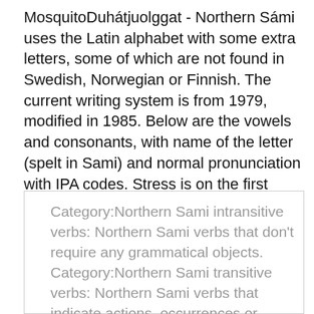MosquitoDuhátjuolggat - Northern Sámi uses the Latin alphabet with some extra letters, some of which are not found in Swedish, Norwegian or Finnish. The current writing system is from 1979, modified in 1985. Below are the vowels and consonants, with name of the letter (spelt in Sami) and normal pronunciation with IPA codes. Stress is on the first syllabus.
Category:Northern Sami intransitive verbs: Northern Sami verbs that don't require any grammatical objects. Category:Northern Sami transitive verbs: Northern Sami verbs that indicate actions, occurrences or states directed to one or more grammatical objects. Northern Sami Braille is the braille alphabet of the